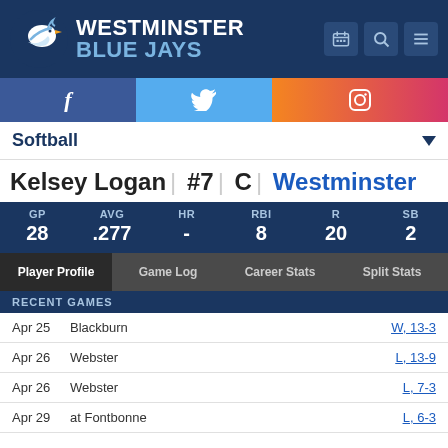Westminster Blue Jays
Kelsey Logan | #7 | C | Westminster
| GP | AVG | HR | RBI | R | SB |
| --- | --- | --- | --- | --- | --- |
| 28 | .277 | - | 8 | 20 | 2 |
RECENT GAMES
| Date | Opponent | Result |
| --- | --- | --- |
| Apr 25 | Blackburn | W, 13-3 |
| Apr 26 | Webster | L, 13-9 |
| Apr 26 | Webster | L, 7-3 |
| Apr 29 | at Fontbonne | L, 6-3 |